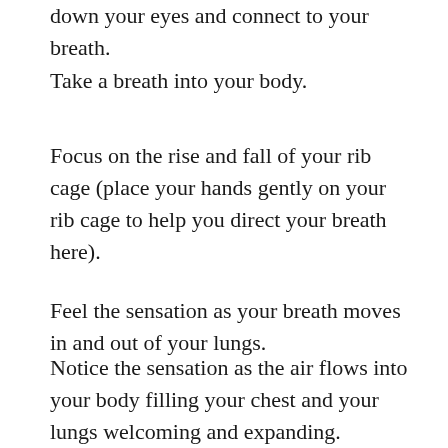down your eyes and connect to your breath.
Take a breath into your body.
Focus on the rise and fall of your rib cage (place your hands gently on your rib cage to help you direct your breath here).
Feel the sensation as your breath moves in and out of your lungs.
Notice the sensation as the air flows into your body filling your chest and your lungs welcoming and expanding.
Notice what you feel as the air flows out of your